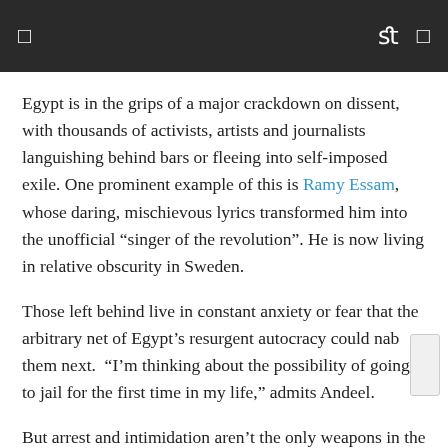☰  fl ❒
Egypt is in the grips of a major crackdown on dissent, with thousands of activists, artists and journalists languishing behind bars or fleeing into self-imposed exile. One prominent example of this is Ramy Essam, whose daring, mischievous lyrics transformed him into the unofficial “singer of the revolution”. He is now living in relative obscurity in Sweden.
Those left behind live in constant anxiety or fear that the arbitrary net of Egypt’s resurgent autocracy could nab them next.  “I’m thinking about the possibility of going to jail for the first time in my life,” admits Andeel.
But arrest and intimidation aren’t the only weapons in the regime’s arsenal. There is also the subtle and not-so-subtle art of counterrevolution.